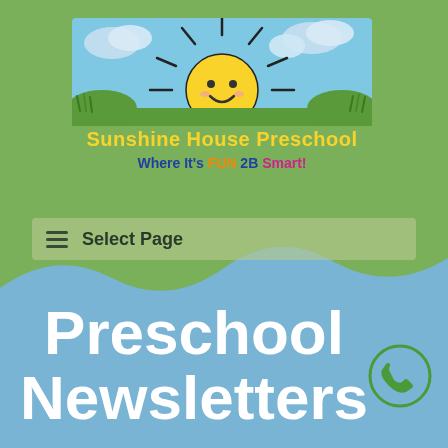[Figure (logo): Sunshine House Preschool logo with cartoon sun rising over hills with clouds and sky. Text reads 'Sunshine House Preschool' in colorful letters and 'Where It's FUN 2B Smart!' below.]
Select Page
Preschool Newsletters